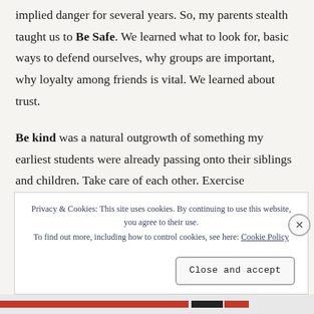implied danger for several years. So, my parents stealth taught us to Be Safe. We learned what to look for, basic ways to defend ourselves, why groups are important, why loyalty among friends is vital. We learned about trust.
Be kind was a natural outgrowth of something my earliest students were already passing onto their siblings and children. Take care of each other. Exercise compassion. Put your religious love into charitable action. See something w...
Privacy & Cookies: This site uses cookies. By continuing to use this website, you agree to their use. To find out more, including how to control cookies, see here: Cookie Policy
Close and accept